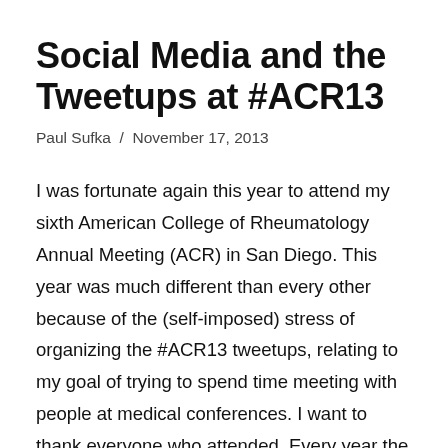Social Media and the Tweetups at #ACR13
Paul Sufka  /  November 17, 2013
I was fortunate again this year to attend my sixth American College of Rheumatology Annual Meeting (ACR) in San Diego. This year was much different than every other because of the (self-imposed) stress of organizing the #ACR13 tweetups, relating to my goal of trying to spend time meeting with people at medical conferences. I want to thank everyone who attended. Every year the tweetups